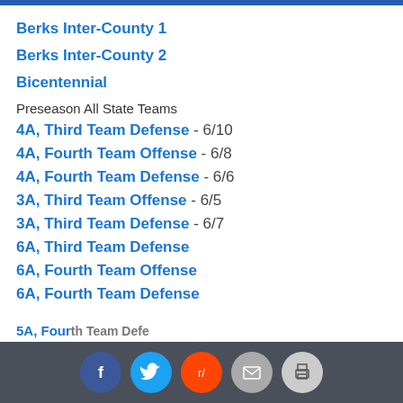Berks Inter-County 1
Berks Inter-County 2
Bicentennial
Preseason All State Teams
4A, Third Team Defense - 6/10
4A, Fourth Team Offense - 6/8
4A, Fourth Team Defense - 6/6
3A, Third Team Offense - 6/5
3A, Third Team Defense - 6/7
6A, Third Team Defense
6A, Fourth Team Offense
6A, Fourth Team Defense
5A, Fourth Team Defense